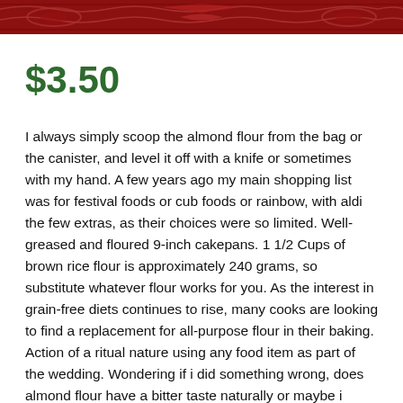[Figure (illustration): Red decorative banner/header image with ornamental design elements]
$3.50
I always simply scoop the almond flour from the bag or the canister, and level it off with a knife or sometimes with my hand. A few years ago my main shopping list was for festival foods or cub foods or rainbow, with aldi the few extras, as their choices were so limited. Well-greased and floured 9-inch cakepans. 1 1/2 Cups of brown rice flour is approximately 240 grams, so substitute whatever flour works for you. As the interest in grain-free diets continues to rise, many cooks are looking to find a replacement for all-purpose flour in their baking. Action of a ritual nature using any food item as part of the wedding. Wondering if i did something wrong, does almond flour have a bitter taste naturally or maybe i bought a rancid bag. Looking forward as we are lchf now for almost two years and i have been